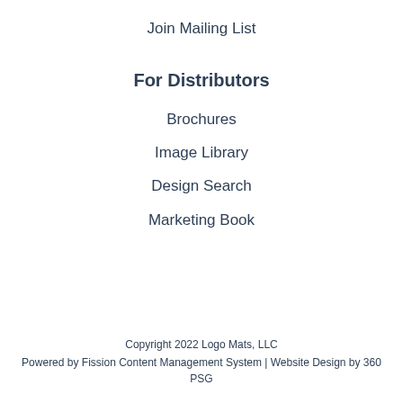Join Mailing List
For Distributors
Brochures
Image Library
Design Search
Marketing Book
Copyright 2022 Logo Mats, LLC
Powered by Fission Content Management System | Website Design by 360 PSG